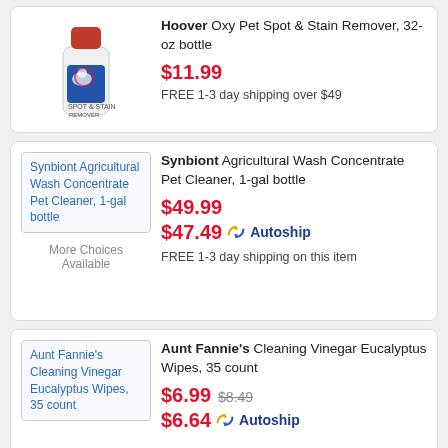[Figure (photo): Hoover Oxy Pet Spot & Stain Remover bottle, white with red cap]
Hoover Oxy Pet Spot & Stain Remover, 32-oz bottle
$11.99
FREE 1-3 day shipping over $49
[Figure (photo): Synbiont Agricultural Wash Concentrate Pet Cleaner, 1-gal bottle — broken image placeholder with blue link text]
Synbiont Agricultural Wash Concentrate Pet Cleaner, 1-gal bottle
$49.99
$47.49 Autoship
FREE 1-3 day shipping on this item
More Choices Available
[Figure (photo): Aunt Fannie's Cleaning Vinegar Eucalyptus Wipes, 35 count — broken image placeholder with blue link text]
Aunt Fannie's Cleaning Vinegar Eucalyptus Wipes, 35 count
$6.99 $8.49
$6.64 Autoship